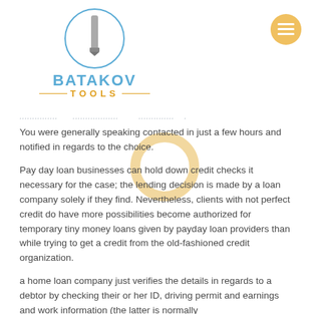[Figure (logo): Batakov Tools logo with circular drill bit icon, blue BATAKOV text, and gold TOOLS text with decorative lines]
[Figure (illustration): Orange/gold donut ring shape overlapping text area]
You were generally speaking contacted in just a few hours and notified in regards to the choice.
Pay day loan businesses can hold down credit checks it necessary for the case; the lending decision is made by a loan company solely if they find. Nevertheless, clients with not perfect credit do have more possibilities become authorized for temporary tiny money loans given by payday loan providers than while trying to get a credit from the old-fashioned credit organization.
a home loan company just verifies the details in regards to a debtor by checking their or her ID, driving permit and earnings and work information (the latter is normally